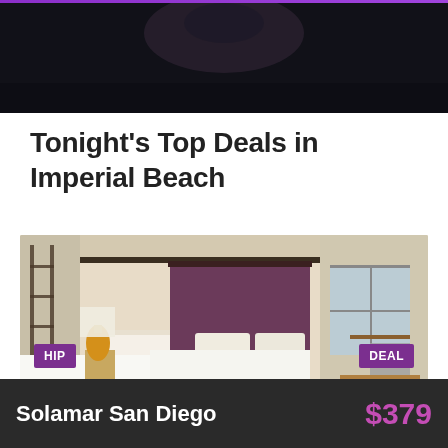[Figure (photo): Dark hero image at the top of the page, appears to be a dimly lit hotel lobby or exterior shot]
Tonight's Top Deals in Imperial Beach
[Figure (photo): Hotel room photo showing two beds with white linens, dark headboard, orange lamp, desk area with window, and patterned carpet]
HIP
DEAL
Solamar San Diego
$379